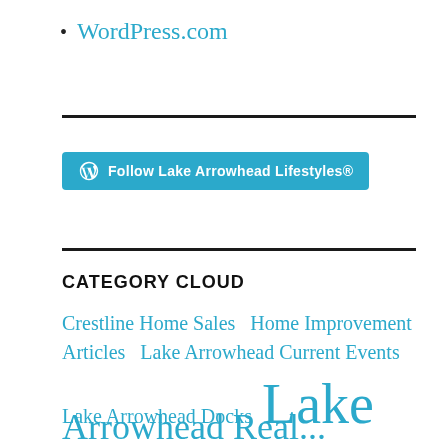WordPress.com
[Figure (other): Follow Lake Arrowhead Lifestyles® button with WordPress logo]
CATEGORY CLOUD
Crestline Home Sales  Home Improvement Articles  Lake Arrowhead Current Events  Lake Arrowhead Docks  Lake  Arrowhead Real...